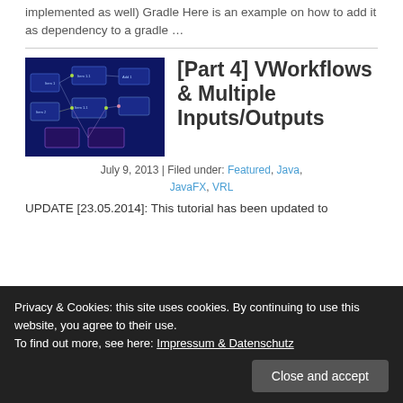implemented as well) Gradle Here is an example on how to add it as dependency to a gradle …
[Figure (screenshot): Dark blue node graph / workflow diagram screenshot for VWorkflows tutorial]
[Part 4] VWorkflows & Multiple Inputs/Outputs
July 9, 2013 | Filed under: Featured, Java, JavaFX, VRL
UPDATE [23.05.2014]: This tutorial has been updated to
Privacy & Cookies: this site uses cookies. By continuing to use this website, you agree to their use. To find out more, see here: Impressum & Datenschutz
Close and accept